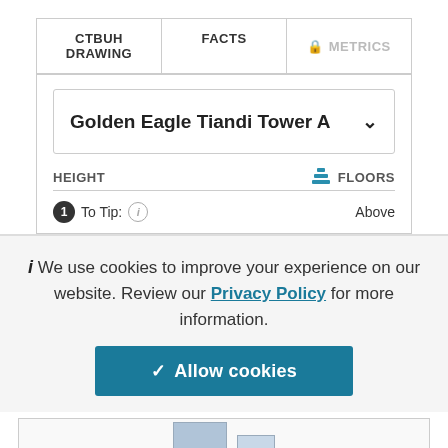| CTBUH DRAWING | FACTS | METRICS |
| --- | --- | --- |
Golden Eagle Tiandi Tower A
HEIGHT  FLOORS
1 To Tip: i  Above
i We use cookies to improve your experience on our website. Review our Privacy Policy for more information.
✓ Allow cookies
[Figure (screenshot): Partial building thumbnail image at bottom of page]